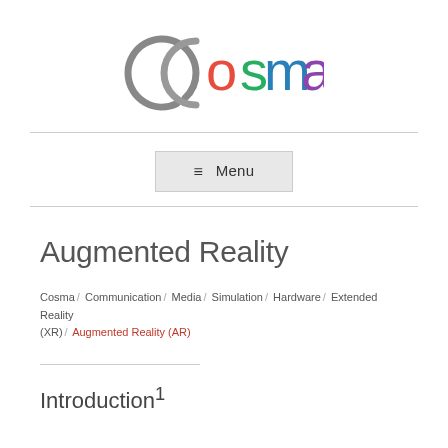[Figure (logo): Cosma logo with colorful letters: C in gray, o in red, s in green, m in blue, a in purple]
≡ Menu
Augmented Reality
Cosma / Communication / Media / Simulation / Hardware / Extended Reality (XR) / Augmented Reality (AR)
Introduction¹